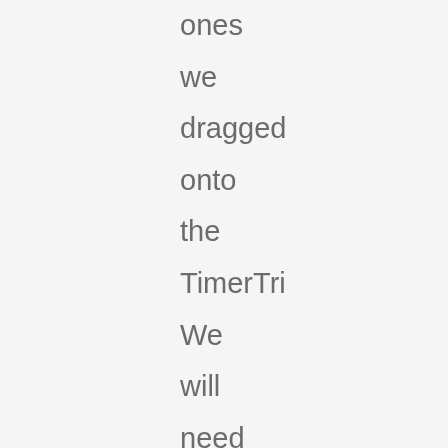ones we dragged onto the TimerTri We will need to detach the nodes from the code we no longer need and this will make